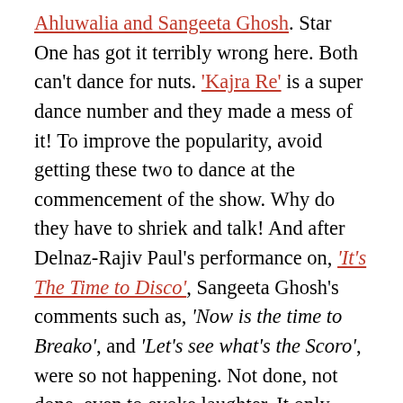Ahluwalia and Sangeeta Ghosh. Star One has got it terribly wrong here. Both can't dance for nuts. 'Kajra Re' is a super dance number and they made a mess of it! To improve the popularity, avoid getting these two to dance at the commencement of the show. Why do they have to shriek and talk! And after Delnaz-Rajiv Paul's performance on, 'It's The Time to Disco', Sangeeta Ghosh's comments such as, 'Now is the time to Breako', and 'Let's see what's the Scoro', were so not happening. Not done, not done, even to evoke laughter. It only evoked embarrassment! And I found the dresses and make-up a little garish and overdone. Sometimes simplicity and subtlety works wonders!
Anyways, overall it was pretty enjoyable and a nice